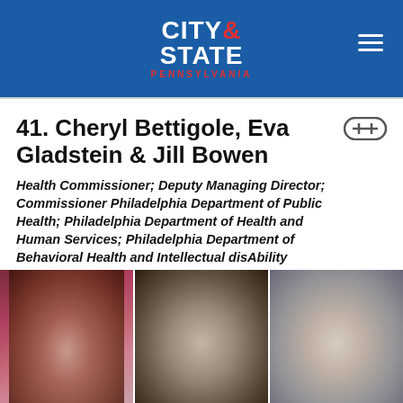CITY & STATE PENNSYLVANIA
41. Cheryl Bettigole, Eva Gladstein & Jill Bowen
Health Commissioner; Deputy Managing Director; Commissioner Philadelphia Department of Public Health; Philadelphia Department of Health and Human Services; Philadelphia Department of Behavioral Health and Intellectual disAbility Services
[Figure (photo): Three headshot photos of Cheryl Bettigole, Eva Gladstein, and Jill Bowen side by side]